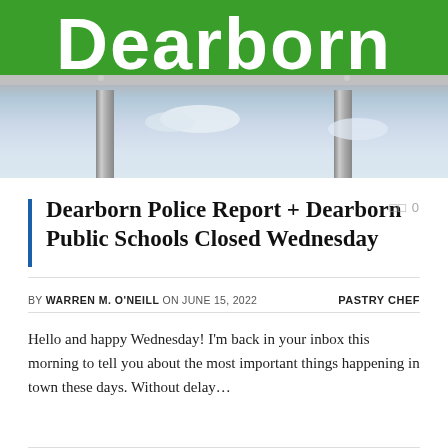[Figure (photo): Green Dearborn city sign with white bold text reading 'Dearborn', mounted on two metal poles against a blue sky with clouds]
Dearborn Police Report + Dearborn Public Schools Closed Wednesday
BY WARREN M. O'NEILL ON JUNE 15, 2022   PASTRY CHEF
Hello and happy Wednesday! I'm back in your inbox this morning to tell you about the most important things happening in town these days. Without delay…